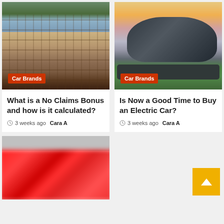[Figure (photo): Haussmann-style Parisian building facade with ornate balconies and mansard roof, trees in foreground]
Car Brands
What is a No Claims Bonus and how is it calculated?
3 weeks ago  Cara A
[Figure (photo): Dark gray Tesla electric car parked in a field at sunset with colorful sky background]
Car Brands
Is Now a Good Time to Buy an Electric Car?
3 weeks ago  Cara A
[Figure (photo): Partially visible image with blurry red text or graphics, appears to be bottom of page card]
[Figure (other): Yellow back-to-top button with white upward arrow chevron in bottom-right corner]